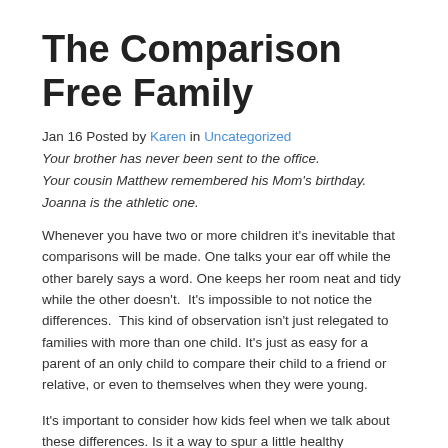The Comparison Free Family
Jan 16 Posted by Karen in Uncategorized
Your brother has never been sent to the office.
Your cousin Matthew remembered his Mom's birthday.
Joanna is the athletic one.
Whenever you have two or more children it's inevitable that comparisons will be made. One talks your ear off while the other barely says a word. One keeps her room neat and tidy while the other doesn't.  It's impossible to not notice the differences.  This kind of observation isn't just relegated to families with more than one child. It's just as easy for a parent of an only child to compare their child to a friend or relative, or even to themselves when they were young.
It's important to consider how kids feel when we talk about these differences. Is it a way to spur a little healthy competition in order